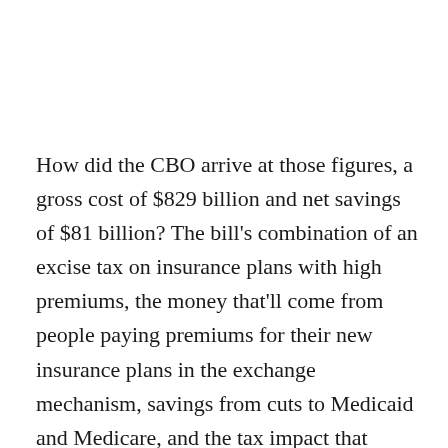How did the CBO arrive at those figures, a gross cost of $829 billion and net savings of $81 billion? The bill's combination of an excise tax on insurance plans with high premiums, the money that'll come from people paying premiums for their new insurance plans in the exchange mechanism, savings from cuts to Medicaid and Medicare, and the tax impact that comes with the expansion in federally subsidized insurance. The bill provides subsidies to those earning between 100 and 400% of the poverty level.